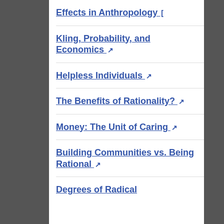Effects in Anthropology [
Kling, Probability, and Economics ↗
Helpless Individuals ↗
The Benefits of Rationality? ↗
Money: The Unit of Caring ↗
Building Communities vs. Being Rational ↗
Degrees of Radical